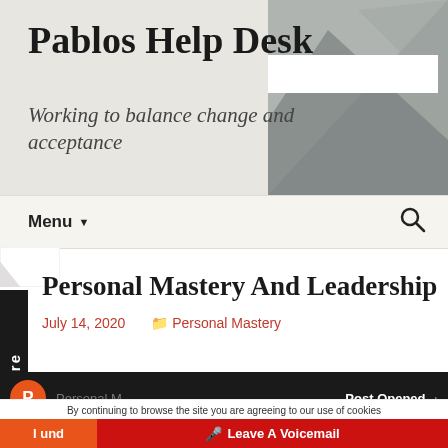Pablos Help Desk
Working to balance change and acceptance
Menu
Personal Mastery And Leadership
July 14, 2020   Personal Mastery
[Figure (screenshot): Video thumbnail bar showing Personal Mastery And Leadership post opened notification]
By continuing to browse the site you are agreeing to our use of cookies
I und... Leave A Voicemail